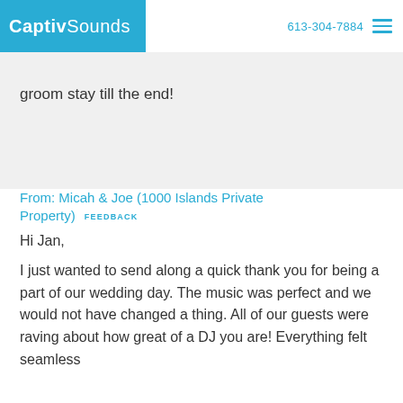CaptivSounds  613-304-7884
groom stay till the end!
From: Micah & Joe (1000 Islands Private Property)  FEEDBACK
Hi Jan,
I just wanted to send along a quick thank you for being a part of our wedding day. The music was perfect and we would not have changed a thing. All of our guests were raving about how great of a DJ you are! Everything felt seamless